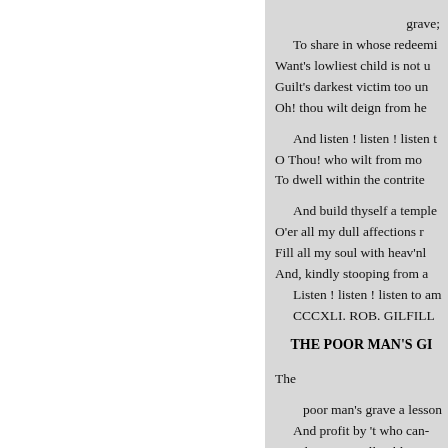grave;
To share in whose redeeming
Want's lowliest child is not u
Guilt's darkest victim too un
Oh! thou wilt deign from he

And listen ! listen ! listen t
O Thou! who wilt from mo
To dwell within the contrite

And build thyself a temple
O'er all my dull affections r
Fill all my soul with heav'nly
And, kindly stooping from a
Listen ! listen ! listen to am
CCCXLI. ROB. GILFIL
THE POOR MAN'S G
The

poor man's grave a lesson
And profit by 't who can-
Here lies a man all nobly po